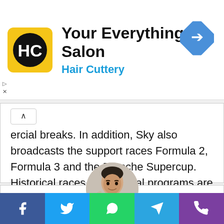[Figure (infographic): Hair Cuttery advertisement banner with logo (HC in black circle on yellow square), text 'Your Everything Salon' and 'Hair Cuttery' in blue, and a blue diamond turn navigation icon on the right. Small play and close controls on the lower left.]
ercial breaks. In addition, Sky also broadcasts the support races Formula 2, Formula 3 and the Porsche Supercup. Historical races and special programs are also on the programme.
[Figure (photo): Circular profile photo of a young man with dark hair wearing a dark jacket and white shirt, smiling slightly. Background appears light with a watermark.]
[Figure (infographic): Social share bar with five buttons: Facebook (blue), Twitter (light blue), WhatsApp (green), Telegram (blue), Phone/call (purple).]